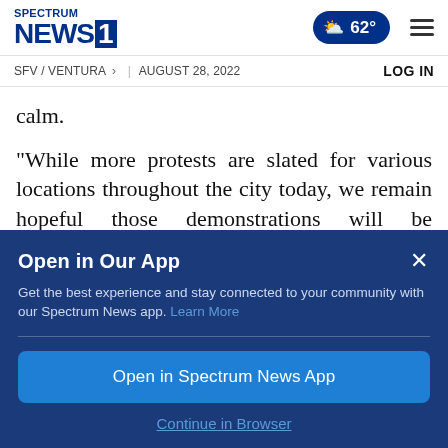Spectrum NEWS 1 — 62° — SFV / VENTURA > | AUGUST 28, 2022 — LOG IN
calm.
"While more protests are slated for various locations throughout the city today, we remain hopeful those demonstrations will be peaceful," Moore said in a series of tweets sent shortly
Open in Our App
Get the best experience and stay connected to your community with our Spectrum News app. Learn More
Open in Spectrum News App
Continue in Browser